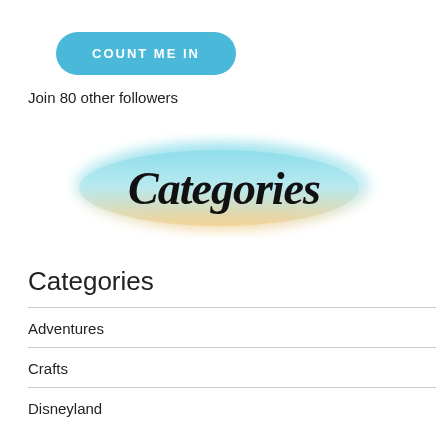COUNT ME IN
Join 80 other followers
[Figure (illustration): Watercolor brush stroke background blending teal/blue at top to warm peach/yellow at bottom, with the word 'Categories' written in black cursive script overlaid on top.]
Categories
Adventures
Crafts
Disneyland